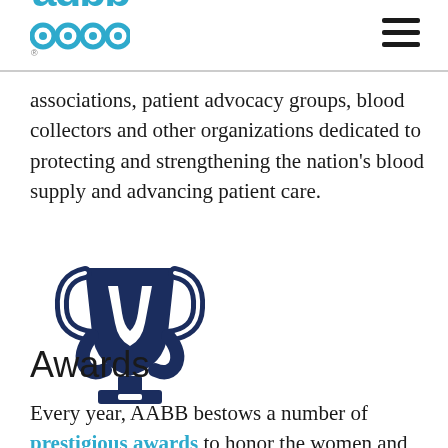AABB logo and navigation
associations, patient advocacy groups, blood collectors and other organizations dedicated to protecting and strengthening the nation’s blood supply and advancing patient care.
[Figure (illustration): Dark navy blue trophy/award icon]
Awards
Every year, AABB bestows a number of prestigious awards to honor the women and men who have